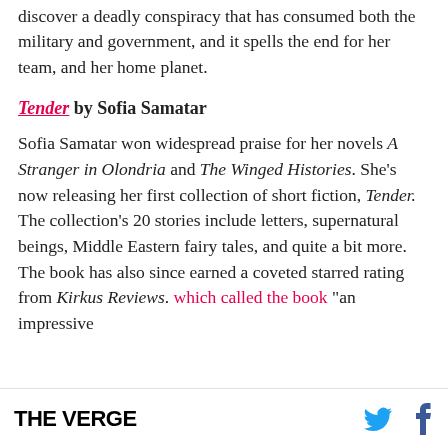discover a deadly conspiracy that has consumed both the military and government, and it spells the end for her team, and her home planet.
Tender by Sofia Samatar
Sofia Samatar won widespread praise for her novels A Stranger in Olondria and The Winged Histories. She’s now releasing her first collection of short fiction, Tender. The collection’s 20 stories include letters, supernatural beings, Middle Eastern fairy tales, and quite a bit more. The book has also since earned a coveted starred rating from Kirkus Reviews. which called the book “an impressive
THE VERGE